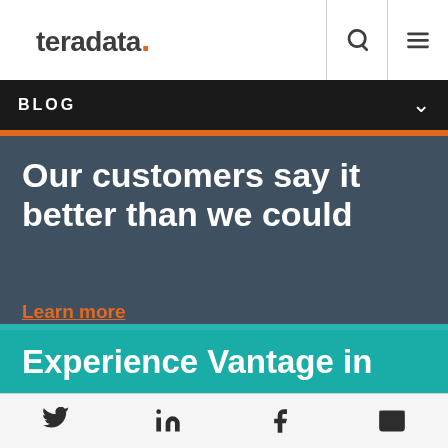teradata. [logo with search and menu icons]
BLOG
Our customers say it better than we could
Learn more
Experience Vantage in
Twitter, LinkedIn, Facebook, Email icons